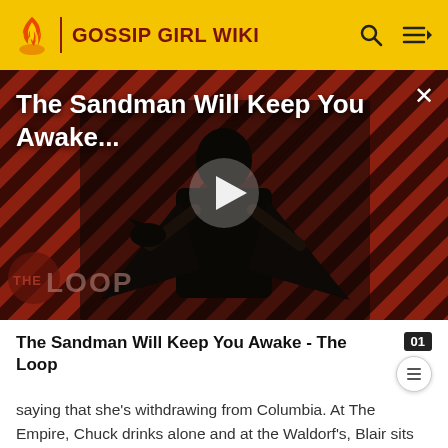GOSSIP GIRL WIKI
[Figure (screenshot): Video thumbnail for 'The Sandman Will Keep You Awake...' showing a dark-cloaked figure against a red diagonal striped background, with a play button in the center and 'THE LOOP' logo in the lower left.]
The Sandman Will Keep You Awake - The Loop
saying that she's withdrawing from Columbia. At The Empire, Chuck drinks alone and at the Waldorf's, Blair sits alone and reads Dorota's romance novel. Elsewhere, Dan